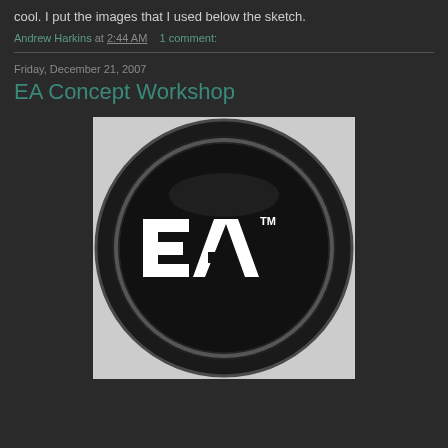cool. I put the images that I used below the sketch.
Andrew Harkins at 2:44 AM    1 comment:
Friday, December 21, 2007
EA Concept Workshop
[Figure (logo): EA (Electronic Arts) logo — white EA letters on a dark circular badge with glossy black ring border]